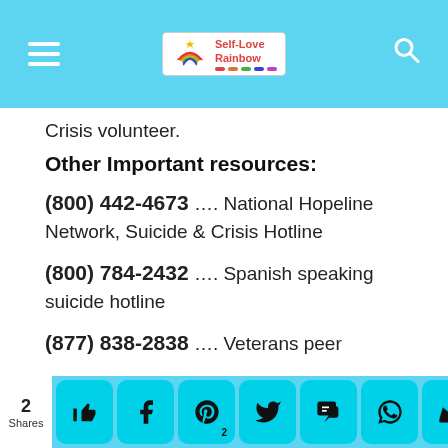Self-Love Rainbow — website header with navigation
Crisis volunteer.
Other Important resources:
(800) 442-4673 …. National Hopeline Network, Suicide & Crisis Hotline
(800) 784-2432 …. Spanish speaking suicide hotline
(877) 838-2838 …. Veterans peer
2 Shares — social sharing buttons: Like, Facebook, Pinterest (2), Twitter, SMS, WhatsApp, Crown